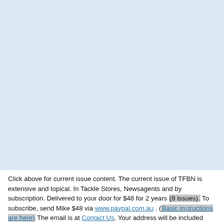[Figure (other): Large light blue area representing an image placeholder with a subtle grid/texture pattern.]
Click above for current issue content. The current issue of TFBN is extensive and topical. In Tackle Stores, Newsagents and by subscription. Delivered to your door for $48 for 2 years (8 issues). To subscribe, send Mike $48 via www.paypal.com.au . (Basic instructions are here) The email is at Contact Us. Your address will be included from PayPal.